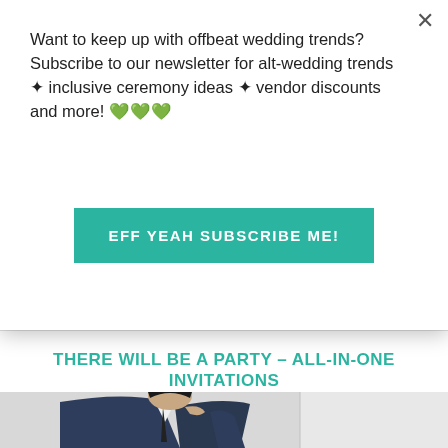Want to keep up with offbeat wedding trends?Subscribe to our newsletter for alt-wedding trends • inclusive ceremony ideas • vendor discounts and more! 💚💚💚
[Figure (other): Teal/green subscribe button with text 'EFF YEAH SUBSCRIBE ME!']
THERE WILL BE A PARTY – ALL-IN-ONE INVITATIONS
Trending Invitations | Minted
[Figure (photo): Photo of a young person wearing a navy blue blazer and dark tie, with hand raised near chin in a thoughtful pose, against a light background]